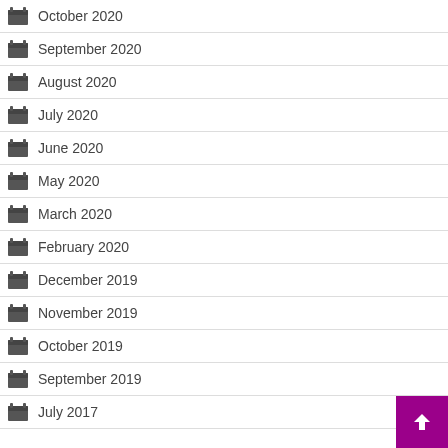October 2020
September 2020
August 2020
July 2020
June 2020
May 2020
March 2020
February 2020
December 2019
November 2019
October 2019
September 2019
July 2017